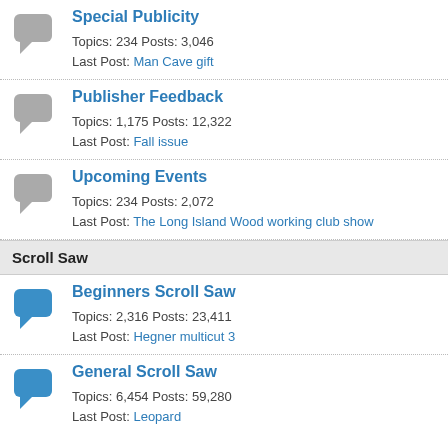Special Publicity
Topics: 234 Posts: 3,046
Last Post: Man Cave gift
Publisher Feedback
Topics: 1,175 Posts: 12,322
Last Post: Fall issue
Upcoming Events
Topics: 234 Posts: 2,072
Last Post: The Long Island Wood working club show
Scroll Saw
Beginners Scroll Saw
Topics: 2,316 Posts: 23,411
Last Post: Hegner multicut 3
General Scroll Saw
Topics: 6,454 Posts: 59,280
Last Post: Leopard